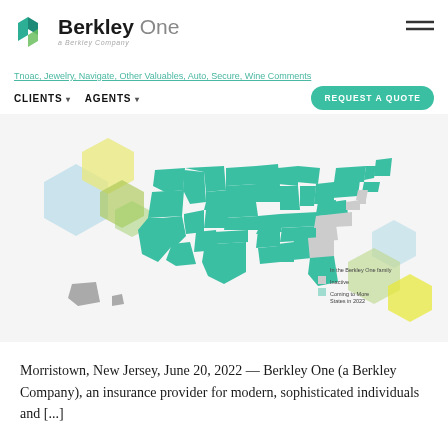[Figure (logo): Berkley One logo with teal geometric house icon, 'Berkley One' text and 'a Berkley Company' subtitle]
Tnoac, Jewelry, Navigate, Other Valuables, Auto, Secure, Wine Comments
CLIENTS  AGENTS
REQUEST A QUOTE
[Figure (map): US map showing states where Berkley One operates (teal colored) vs inactive states (gray), with decorative hexagon shapes in light blue, green, and yellow in background. Legend shows Berkley One states, Inactive, and Coming Soon designations.]
Morristown, New Jersey, June 20, 2022 — Berkley One (a Berkley Company), an insurance provider for modern, sophisticated individuals and [...]